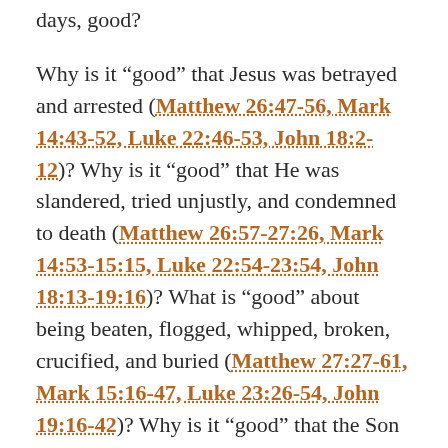days, good?
Why is it “good” that Jesus was betrayed and arrested (Matthew 26:47-56, Mark 14:43-52, Luke 22:46-53, John 18:2-12)? Why is it “good” that He was slandered, tried unjustly, and condemned to death (Matthew 26:57-27:26, Mark 14:53-15:15, Luke 22:54-23:54, John 18:13-19:16)? What is “good” about being beaten, flogged, whipped, broken, crucified, and buried (Matthew 27:27-61, Mark 15:16-47, Luke 23:26-54, John 19:16-42)? Why is it “good” that the Son of God Himself went to a cross to die?
First, Good Friday is good because Jesus is who He said He was. Jesus is the Son of God, the King of kings, and the firstborn of all creation (Colossians 1:15). Jesus is the suffering servant prophesied about